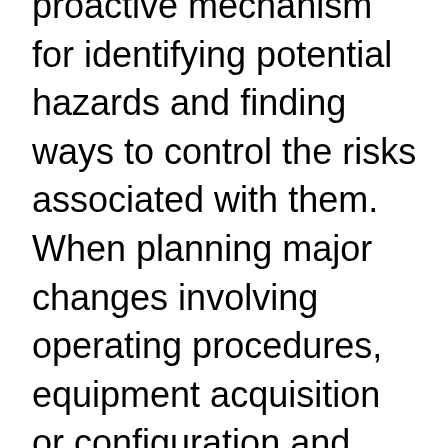proactive mechanism for identifying potential hazards and finding ways to control the risks associated with them. When planning major changes involving operating procedures, equipment acquisition or configuration and organizational working relationships, a safety assessment is warranted.
Risk management has three essential elements: hazard identification, risk assessment, and risk mitigation. Once a hazard is identified, a risk assessment is conducted to determine the severity of the potential adverse consequences or the